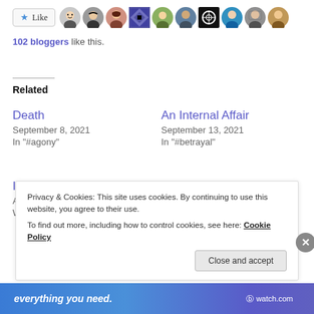[Figure (other): Like button with star icon and row of 10 avatar profile photos]
102 bloggers like this.
Related
Death
September 8, 2021
In "#agony"
An Internal Affair
September 13, 2021
In "#betrayal"
It is okay
April 6, 2022
With 38 comments
Privacy & Cookies: This site uses cookies. By continuing to use this website, you agree to their use.
To find out more, including how to control cookies, see here: Cookie Policy
Close and accept